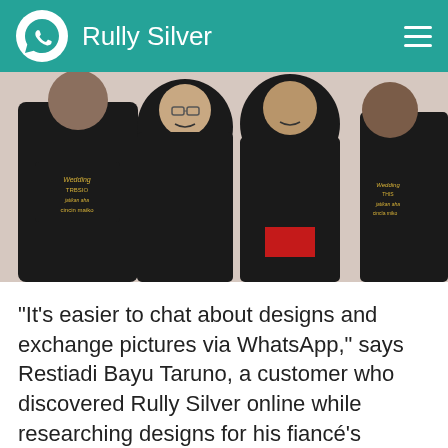Rully Silver
[Figure (photo): Group of four people wearing matching black t-shirts with 'Wedding' text and decorative design. Two women wearing hijabs are in the center, flanked by two men.]
"It's easier to chat about designs and exchange pictures via WhatsApp," says Restiadi Bayu Taruno, a customer who discovered Rully Silver online while researching designs for his fiancé's wedding band.
Evan Anggana, who purchased wedding bands for himself and his wife from Rully Silver...